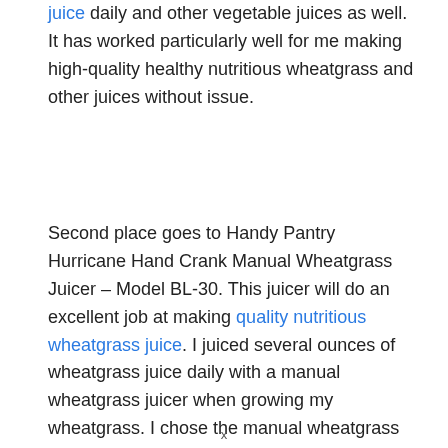juice daily and other vegetable juices as well. It has worked particularly well for me making high-quality healthy nutritious wheatgrass and other juices without issue.
Second place goes to Handy Pantry Hurricane Hand Crank Manual Wheatgrass Juicer – Model BL-30. This juicer will do an excellent job at making quality nutritious wheatgrass juice. I juiced several ounces of wheatgrass juice daily with a manual wheatgrass juicer when growing my wheatgrass. I chose the manual wheatgrass juicer at the time because it fit my needs and worked great.
x